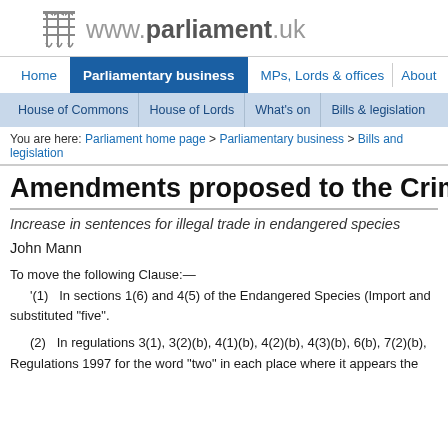www.parliament.uk
[Figure (logo): UK Parliament portcullis logo]
Home | Parliamentary business | MPs, Lords & offices | About
House of Commons | House of Lords | What's on | Bills & legislation
You are here: Parliament home page > Parliamentary business > Bills and legislation
Amendments proposed to the Crim
Increase in sentences for illegal trade in endangered species
John Mann
To move the following Clause:—
'(1)   In sections 1(6) and 4(5) of the Endangered Species (Import and substituted "five".

(2)   In regulations 3(1), 3(2)(b), 4(1)(b), 4(2)(b), 4(3)(b), 6(b), 7(2)(b), Regulations 1997 for the word "two" in each place where it appears the